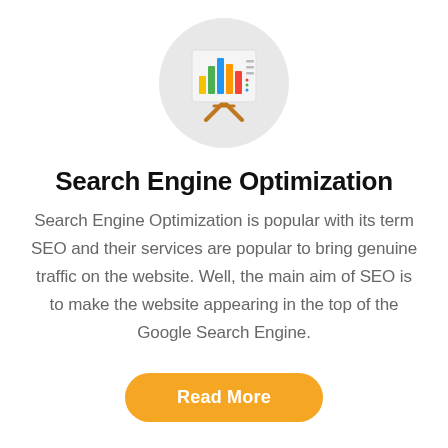[Figure (illustration): A presentation board icon with a bar chart showing colored bars (yellow, green, blue, orange, red) and some lines of text, mounted on a wooden easel, inside a light gray circle.]
Search Engine Optimization
Search Engine Optimization is popular with its term SEO and their services are popular to bring genuine traffic on the website. Well, the main aim of SEO is to make the website appearing in the top of the Google Search Engine.
Read More